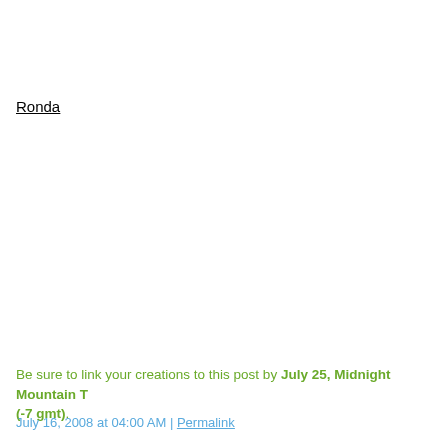Ronda
Be sure to link your creations to this post by July 25, Midnight Mountain Time (-7 gmt).
July 16, 2008 at 04:00 AM | Permalink